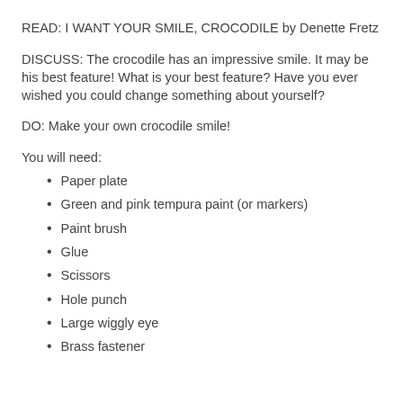READ: I WANT YOUR SMILE, CROCODILE by Denette Fretz
DISCUSS: The crocodile has an impressive smile. It may be his best feature! What is your best feature? Have you ever wished you could change something about yourself?
DO: Make your own crocodile smile!
You will need:
Paper plate
Green and pink tempura paint (or markers)
Paint brush
Glue
Scissors
Hole punch
Large wiggly eye
Brass fastener